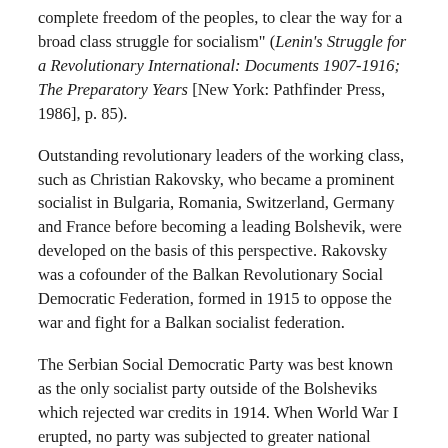complete freedom of the peoples, to clear the way for a broad class struggle for socialism" (Lenin's Struggle for a Revolutionary International: Documents 1907-1916; The Preparatory Years [New York: Pathfinder Press, 1986], p. 85).
Outstanding revolutionary leaders of the working class, such as Christian Rakovsky, who became a prominent socialist in Bulgaria, Romania, Switzerland, Germany and France before becoming a leading Bolshevik, were developed on the basis of this perspective. Rakovsky was a cofounder of the Balkan Revolutionary Social Democratic Federation, formed in 1915 to oppose the war and fight for a Balkan socialist federation.
The Serbian Social Democratic Party was best known as the only socialist party outside of the Bolsheviks which rejected war credits in 1914. When World War I erupted, no party was subjected to greater national patriotic